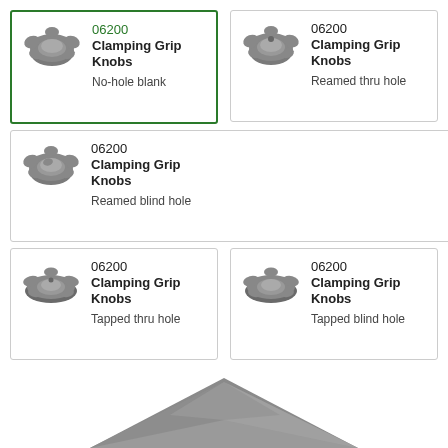[Figure (illustration): Product card grid showing 5 variants of 06200 Clamping Grip Knobs: No-hole blank (highlighted with green border), Reamed thru hole, Reamed blind hole, Tapped thru hole, Tapped blind hole. Each card shows a photo of a star-shaped knob.]
06200
Clamping Grip Knobs
No-hole blank
06200
Clamping Grip Knobs
Reamed thru hole
06200
Clamping Grip Knobs
Reamed blind hole
06200
Clamping Grip Knobs
Tapped thru hole
06200
Clamping Grip Knobs
Tapped blind hole
[Figure (photo): Partial photo of a large clamping grip knob at the bottom of the page]